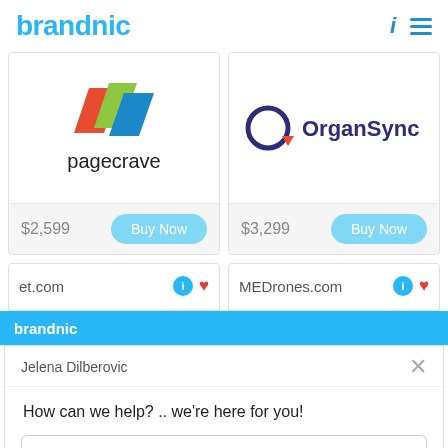brandnic
[Figure (logo): pagecrave logo with colorful geometric shapes and lowercase text]
$2,599  Buy Now
[Figure (logo): OrganSync logo with dark blue circle O and text]
$3,299  Buy Now
et.com
MEDrones.com
brandnic
Jelena Dilberovic
How can we help? .. we're here for you!
Reply to Jelena Dilberovic
Chat ⚡ by Drift